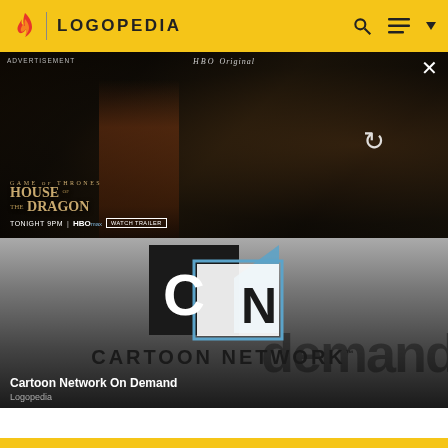LOGOPEDIA
[Figure (screenshot): HBO Original advertisement for House of the Dragon — Game of Thrones prequel. Text: GAME OF THRONES / HOUSE OF THE DRAGON / TONIGHT 9PM / HBOmax / WATCH TRAILER]
[Figure (logo): Cartoon Network logo — black and white CN square logo with blue corner accent and CARTOON NETWORK wordmark below]
Cartoon Network On Demand
Logopedia